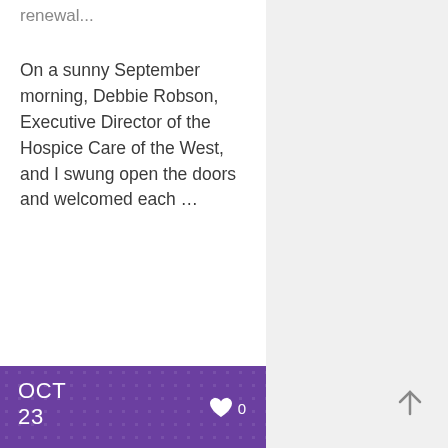RENEWAL...
On a sunny September morning, Debbie Robson, Executive Director of the Hospice Care of the West, and I swung open the doors and welcomed each …
OCT
23   ♥ 0
Our Executive Director at th...